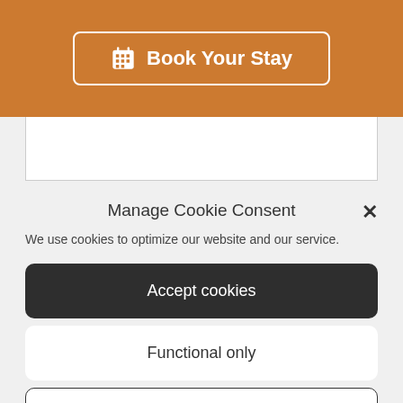[Figure (screenshot): Orange header bar with 'Book Your Stay' button with calendar icon, white bordered button on orange background]
Manage Cookie Consent
We use cookies to optimize our website and our service.
Accept cookies
Functional only
View preferences